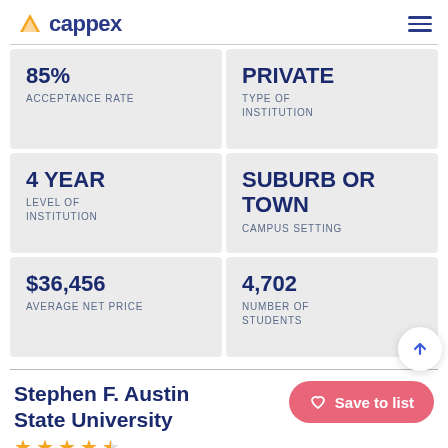cappex
85% ACCEPTANCE RATE
PRIVATE TYPE OF INSTITUTION
4 YEAR LEVEL OF INSTITUTION
SUBURB OR TOWN CAMPUS SETTING
$36,456 AVERAGE NET PRICE
4,702 NUMBER OF STUDENTS
Stephen F. Austin State University
Save to list